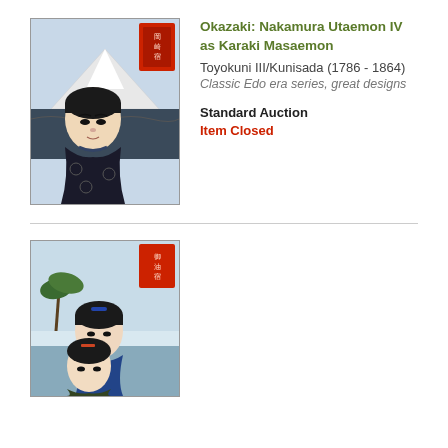[Figure (illustration): Japanese ukiyo-e woodblock print thumbnail showing a kabuki actor portrait (Nakamura Utaemon IV as Karaki Masaemon) with a mountain landscape and red cartouche in the background]
Okazaki: Nakamura Utaemon IV as Karaki Masaemon
Toyokuni III/Kunisada (1786 - 1864)
Classic Edo era series, great designs
Standard Auction
Item Closed
[Figure (illustration): Japanese ukiyo-e woodblock print thumbnail showing two kabuki actor portraits with a coastal landscape and palm trees, and a red cartouche]